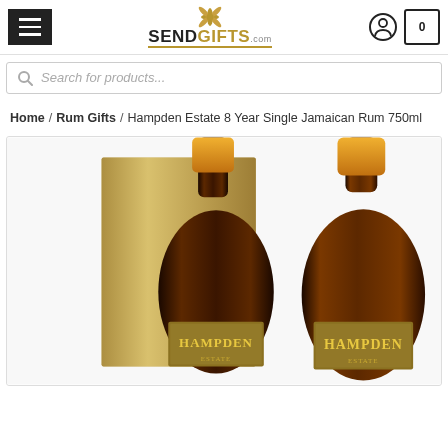[Figure (screenshot): SendGifts.com website header with hamburger menu, logo with flower emblem, user icon, and cart icon showing 0]
[Figure (screenshot): Search bar with placeholder text 'Search for products...']
Home / Rum Gifts / Hampden Estate 8 Year Single Jamaican Rum 750ml
[Figure (photo): Product photo showing two Hampden Estate rum bottles with gold caps and labels, one next to its gold gift box]